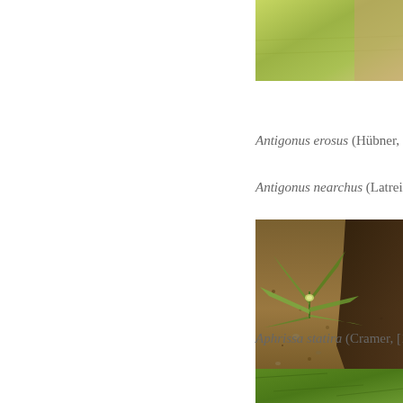[Figure (photo): Close-up photo of a green leaf surface, partially visible at top right, cropped]
Antigonus erosus (Hübner, 18…
Antigonus nearchus (Latreille,…
[Figure (photo): Photo of a small spiky green plant seedling on sandy/rocky soil with dark wood debris, watermark reads 'Antonio Rivera']
Aphrissa statira (Cramer, [177…
[Figure (photo): Photo of green plant foliage, partially visible at bottom right, cropped]